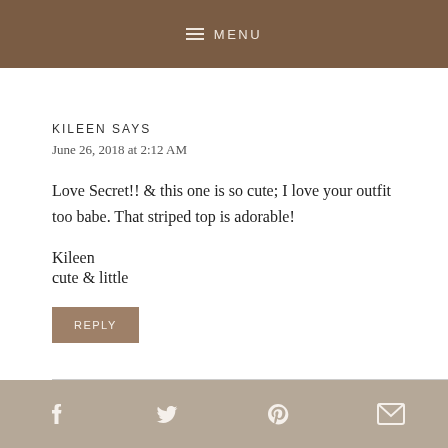MENU
KILEEN SAYS
June 26, 2018 at 2:12 AM
Love Secret!! & this one is so cute; I love your outfit too babe. That striped top is adorable!
Kileen
cute & little
REPLY
Facebook Twitter Pinterest Email